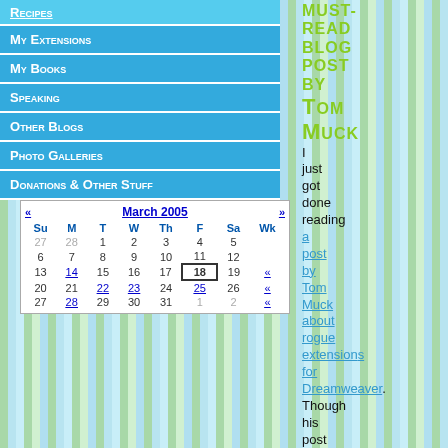Recipes
My Extensions
My Books
Speaking
Other Blogs
Photo Galleries
Donations & Other Stuff
| Su | M | T | W | Th | F | Sa | Wk |
| --- | --- | --- | --- | --- | --- | --- | --- |
| 27 | 28 | 1 | 2 | 3 | 4 | 5 |  |
| 6 | 7 | 8 | 9 | 10 | 11 | 12 |  |
| 13 | 14 | 15 | 16 | 17 | 18 | 19 | « |
| 20 | 21 | 22 | 23 | 24 | 25 | 26 | « |
| 27 | 28 | 29 | 30 | 31 | 1 | 2 | « |
MUST-READ BLOG POST BY TOM MUCK
I just got done reading a post by Tom Muck about rogue extensions for Dreamweaver. Though his post is